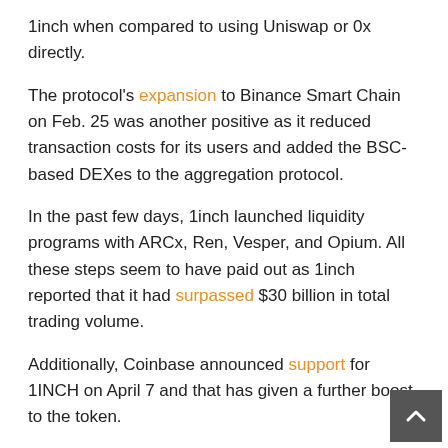1inch when compared to using Uniswap or 0x directly.
The protocol's expansion to Binance Smart Chain on Feb. 25 was another positive as it reduced transaction costs for its users and added the BSC-based DEXes to the aggregation protocol.
In the past few days, 1inch launched liquidity programs with ARCx, Ren, Vesper, and Opium. All these steps seem to have paid out as 1inch reported that it had surpassed $30 billion in total trading volume.
Additionally, Coinbase announced support for 1INCH on April 7 and that has given a further boost to the token.
1INCH has risen from an intraday low at $3.56 on March 25 to an intraday high at $6.56 today, a gain of 84% in 15 days. The bulls pushed the price above the overhead resistance at $6.33 today but have not been able to sustain the breakout, which show bears are defending this level aggressively.